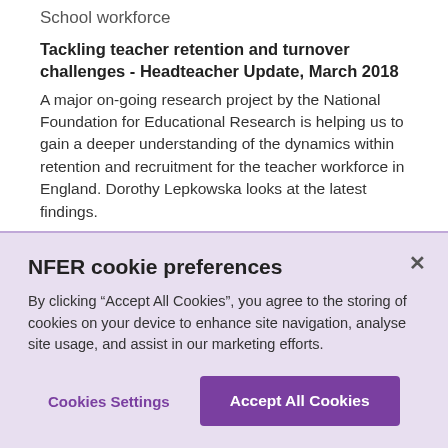School workforce
Tackling teacher retention and turnover challenges - Headteacher Update, March 2018
A major on-going research project by the National Foundation for Educational Research is helping us to gain a deeper understanding of the dynamics within retention and recruitment for the teacher workforce in England. Dorothy Lepkowska looks at the latest findings.
NFER cookie preferences
By clicking “Accept All Cookies”, you agree to the storing of cookies on your device to enhance site navigation, analyse site usage, and assist in our marketing efforts.
Cookies Settings
Accept All Cookies